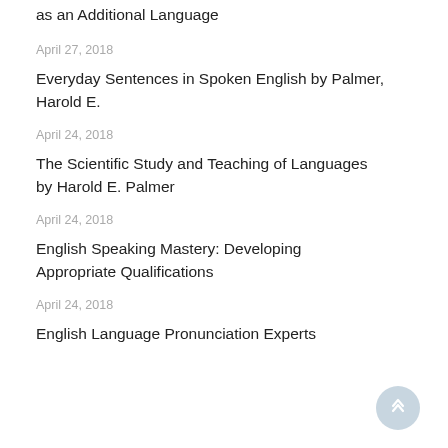as an Additional Language
April 27, 2018
Everyday Sentences in Spoken English by Palmer, Harold E.
April 24, 2018
The Scientific Study and Teaching of Languages by Harold E. Palmer
April 24, 2018
English Speaking Mastery: Developing Appropriate Qualifications
April 24, 2018
English Language Pronunciation Experts